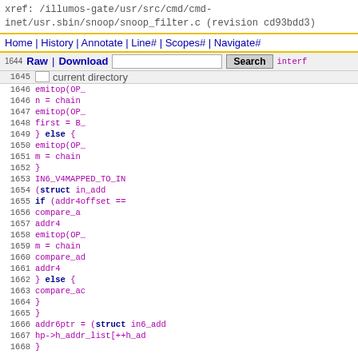xref: /illumos-gate/usr/src/cmd/cmd-inet/usr.sbin/snoop/snoop_filter.c (revision cd93bdd3)
Home | History | Annotate | Line# | Scopes# | Navigate#
Raw | Download  [search box]  Search   interf
current directory
[Figure (screenshot): Source code viewer showing lines 1644-1668 of snoop_filter.c with syntax highlighting. Code includes emitop calls, chain assignments, IN6_V4MAPPED_TO_IN, struct in_addr, if addr4offset conditions, compare_ad calls, addr4 references, else blocks, closing braces, addr6ptr assignment, and hp->h_addr_list access.]